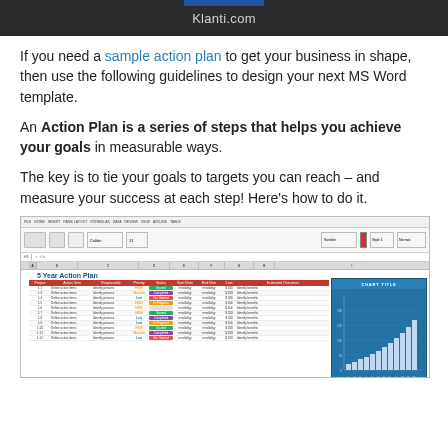Klanti.com
If you need a sample action plan to get your business in shape, then use the following guidelines to design your next MS Word template.
An Action Plan is a series of steps that helps you achieve your goals in measurable ways.
The key is to tie your goals to targets you can reach – and measure your success at each step! Here's how to do it.
[Figure (screenshot): Screenshot of a Microsoft Excel spreadsheet showing a '5 Year Action Plan' template with columns for Project, Action Item, Responsible, Priority, Status, Start Date, End Date, Cost, and Estimated Outcomes, with colored status cells (Started, Completed, Failed, In Progress) and a bar chart with title 'CHART TITLE' on a blue background.]